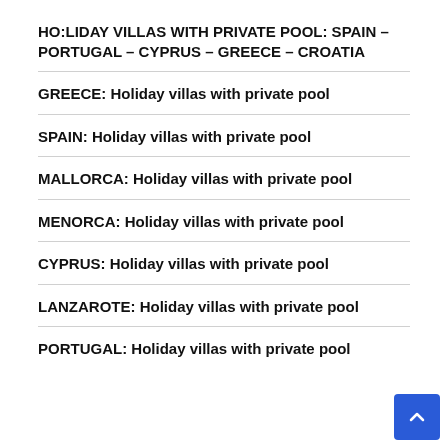HO:LIDAY VILLAS WITH PRIVATE POOL: SPAIN – PORTUGAL – CYPRUS – GREECE – CROATIA
GREECE: Holiday villas with private pool
SPAIN: Holiday villas with private pool
MALLORCA: Holiday villas with private pool
MENORCA: Holiday villas with private pool
CYPRUS: Holiday villas with private pool
LANZAROTE: Holiday villas with private pool
PORTUGAL: Holiday villas with private pool